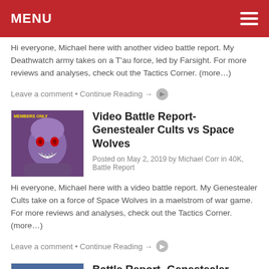MENU
Hi everyone, Michael here with another video battle report. My Deathwatch army takes on a T'au force, led by Farsight. For more reviews and analyses, check out the Tactics Corner. (more…)
Leave a comment • Continue Reading →
Video Battle Report- Genestealer Cults vs Space Wolves
Posted on May 2, 2019 by Michael Corr in 40K, Battle Report
Hi everyone, Michael here with a video battle report. My Genestealer Cults take on a force of Space Wolves in a maelstrom of war game. For more reviews and analyses, check out the Tactics Corner. (more…)
Leave a comment • Continue Reading →
Battle Report- Genestealer Cults vs Night Lords